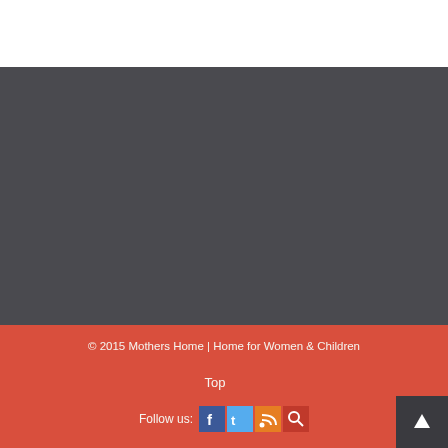© 2015 Mothers Home | Home for Women & Children
Top
Follow us: